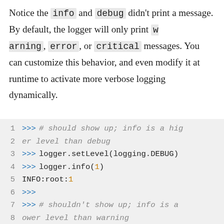Notice the info and debug didn't print a message. By default, the logger will only print warning, error, or critical messages. You can customize this behavior, and even modify it at runtime to activate more verbose logging dynamically.
[Figure (screenshot): Python interactive shell code block showing logger.setLevel and logger.info calls with output INFO:root:1]